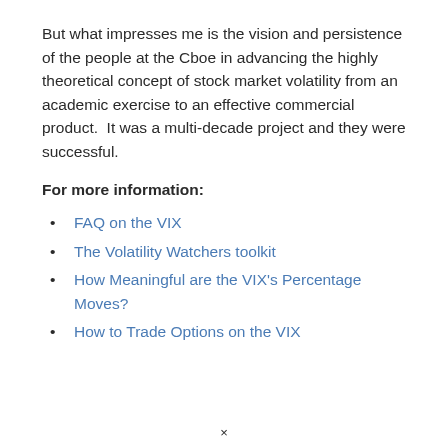But what impresses me is the vision and persistence of the people at the Cboe in advancing the highly theoretical concept of stock market volatility from an academic exercise to an effective commercial product.  It was a multi-decade project and they were successful.
For more information:
FAQ on the VIX
The Volatility Watchers toolkit
How Meaningful are the VIX's Percentage Moves?
How to Trade Options on the VIX
×